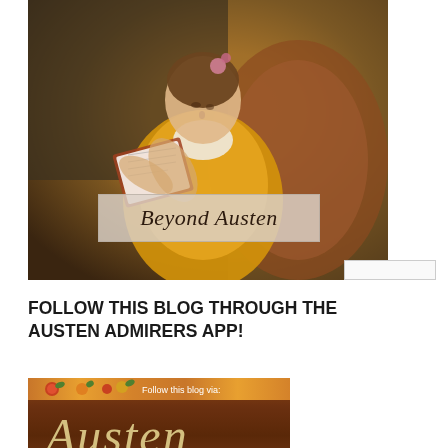[Figure (illustration): Classical oil painting of a young woman in a yellow dress reading a book, with pink flowers in her hair. Overlaid with a semi-transparent banner reading 'Beyond Austen' in italic script.]
FOLLOW THIS BLOG THROUGH THE AUSTEN ADMIRERS APP!
[Figure (illustration): App banner with decorative fruit border at top, brown leather-texture background, text 'Follow this blog via:' and 'Austen' in cursive script below.]